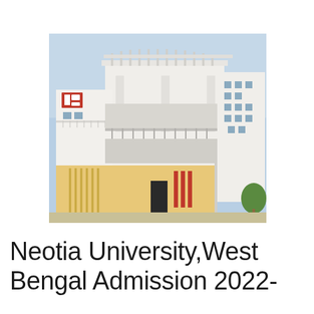[Figure (photo): Exterior photograph of Neotia University building in West Bengal. A multi-storey modern white building with a pergola/trellis structure on the roof, balconies, and rectangular windows. Lower section shows a yellow/cream facade with vertical stripe details and red accent bars near the entrance.]
Neotia University,West Bengal Admission 2022-